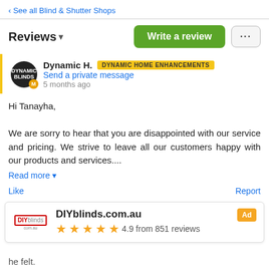‹ See all Blind & Shutter Shops
Reviews ▾
Dynamic H. — DYNAMIC HOME ENHANCEMENTS
Send a private message
5 months ago
Hi Tanayha,

We are sorry to hear that you are disappointed with our service and pricing. We strive to leave all our customers happy with our products and services....
Read more ▾
Like    Report
Tanayha A.
5 months ago
[Figure (screenshot): Ad banner for DIYblinds.com.au showing logo, rating 4.9 from 851 reviews, and Ad badge]
he felt.